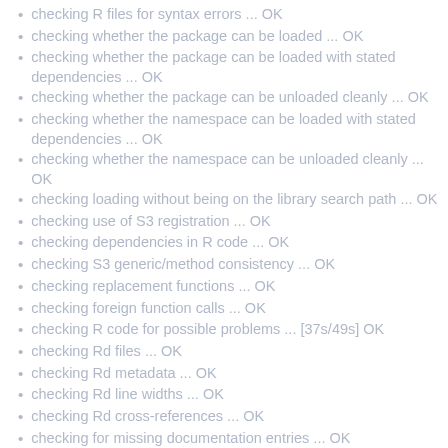checking R files for syntax errors ... OK
checking whether the package can be loaded ... OK
checking whether the package can be loaded with stated dependencies ... OK
checking whether the package can be unloaded cleanly ... OK
checking whether the namespace can be loaded with stated dependencies ... OK
checking whether the namespace can be unloaded cleanly ... OK
checking loading without being on the library search path ... OK
checking use of S3 registration ... OK
checking dependencies in R code ... OK
checking S3 generic/method consistency ... OK
checking replacement functions ... OK
checking foreign function calls ... OK
checking R code for possible problems ... [37s/49s] OK
checking Rd files ... OK
checking Rd metadata ... OK
checking Rd line widths ... OK
checking Rd cross-references ... OK
checking for missing documentation entries ... OK
checking for code/documentation mismatches ... OK
checking Rd \usage sections ... OK